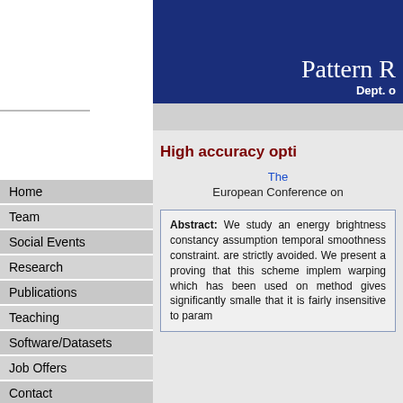[Figure (screenshot): University website header banner with dark blue background showing 'Pattern R' and 'Dept.' text in white]
High accuracy opti...
The...
European Conference on...
Abstract: We study an energy brightness constancy assumption temporal smoothness constraint. are strictly avoided. We present a proving that this scheme implem warping which has been used on method gives significantly smalle that it is fairly insensitive to param
Home
Team
Social Events
Research
Publications
Teaching
Software/Datasets
Job Offers
Contact
Internal